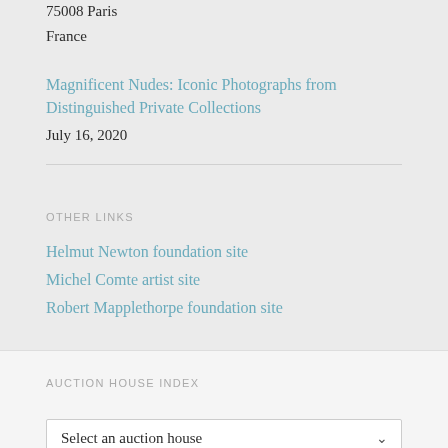75008 Paris
France
Magnificent Nudes: Iconic Photographs from Distinguished Private Collections
July 16, 2020
OTHER LINKS
Helmut Newton foundation site
Michel Comte artist site
Robert Mapplethorpe foundation site
AUCTION HOUSE INDEX
Select an auction house